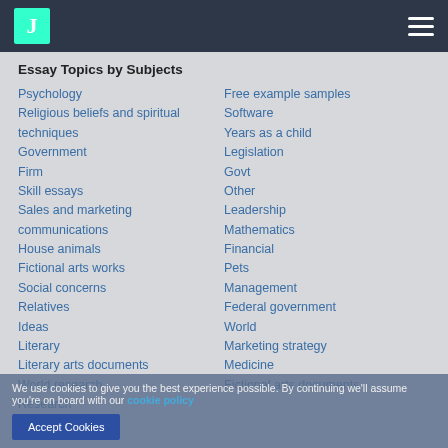J [logo] [hamburger menu]
Essay Topics by Subjects
Psychology
Religious beliefs and spiritual techniques
Government
Firm
Skill essays
Sales and marketing communications
House animals
Fictional arts works
Social concerns
Relatives
Ideas
Literary
Literary arts documents
World research
Research
Free example samples
Software
Years as a child
Legislation
Govt
Other
Leadership
Mathematics
Financial
Pets
Management
Federal government
World
Marketing strategy
Medicine
Fictional arts documents
We use cookies to give you the best experience possible. By continuing we'll assume you're on board with our cookie policy